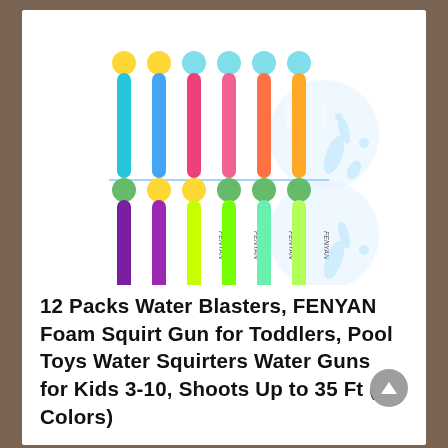[Figure (photo): Product photo showing 12 colorful foam water squirter guns arranged in two rows of 6. Top row has blue, teal, pink, pink, orange, and orange squirters with yellow/blue ball tips. Bottom row has purple, purple, yellow, green, green, and green squirters with green/yellow ball tips. Water splash effect visible in background.]
12 Packs Water Blasters, FENYAN Foam Squirt Gun for Toddlers, Pool Toys Water Squirters Water Guns for Kids 3-10, Shoots Up to 35 Ft (6 Colors)